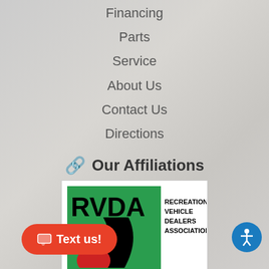Financing
Parts
Service
About Us
Contact Us
Directions
Our Affiliations
[Figure (logo): RVDA Recreation Vehicle Dealers Association Alberta logo - green square with stylized RV/road graphic and maple leaf]
[Figure (logo): AMVIC Alberta Motor Vehicle Industry Council logo - red chevron graphic with text]